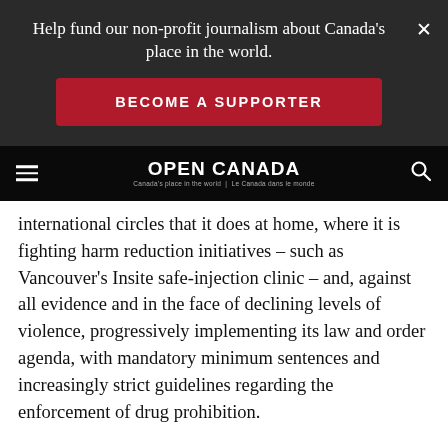Help fund our non-profit journalism about Canada’s place in the world.
BECOME A SUPPORTER
[Figure (logo): Open Canada logo with tagline: Canada's place in the world | Le Canada dans le monde, with hamburger menu icon on left and search icon on right, on black background]
international circles that it does at home, where it is fighting harm reduction initiatives – such as Vancouver’s Insite safe-injection clinic – and, against all evidence and in the face of declining levels of violence, progressively implementing its law and order agenda, with mandatory minimum sentences and increasingly strict guidelines regarding the enforcement of drug prohibition.